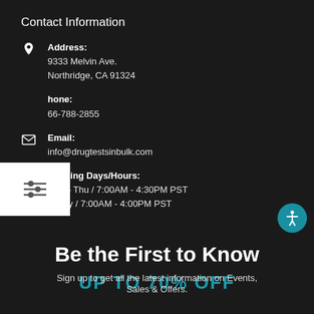Contact Information
Address: 9333 Melvin Ave. Northridge, CA 91324
Phone: 866-788-2855
Email: info@drugtestsinbulk.com
Working Days/Hours: Mon - Thu / 7:00AM - 4:30PM PST  Friday / 7:00AM - 4:00PM PST
Be the First to Know
Sign up to get all the latest information on Events, Sales & Offers.